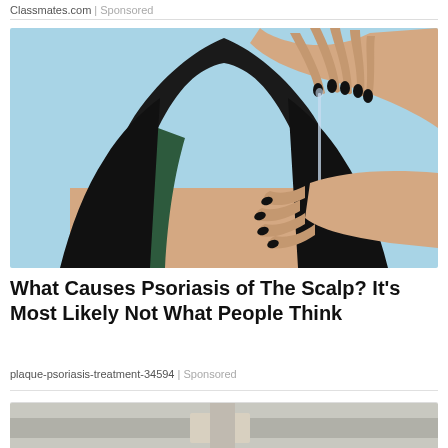Classmates.com | Sponsored
[Figure (photo): Person applying serum or treatment to scalp with a dropper, dark hair, light blue background, black nail polish on hands]
What Causes Psoriasis of The Scalp? It's Most Likely Not What People Think
plaque-psoriasis-treatment-34594 | Sponsored
[Figure (photo): Partial view of another article image, partially visible at bottom of page]